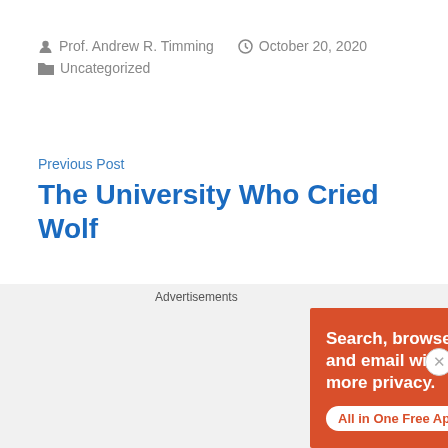Prof. Andrew R. Timming   October 20, 2020
Uncategorized
Previous Post
The University Who Cried Wolf
Next Post
[Figure (screenshot): DuckDuckGo advertisement banner: orange background with white text 'Search, browse, and email with more privacy. All in One Free App' and phone graphic with DuckDuckGo logo]